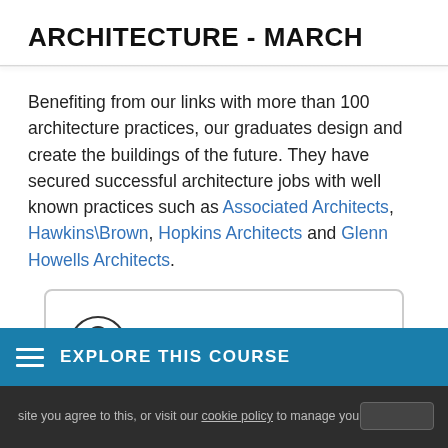ARCHITECTURE - MARCH
Benefiting from our links with more than 100 architecture practices, our graduates design and create the buildings of the future. They have secured successful architecture jobs with well known practices such as Associated Architects, Hawkins\Brown, Hopkins Architects and Glenn Howells Architects.
This course is open to
EXPLORE THIS COURSE
site you agree to this, or visit our cookie policy to manage your settings.